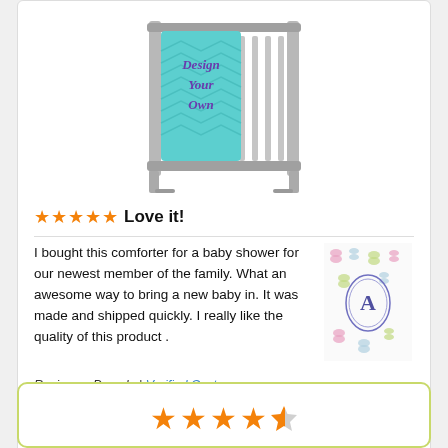[Figure (photo): Photo of a baby crib with a teal 'Design Your Own' comforter/quilt hanging on it]
★★★★★ Love it!
I bought this comforter for a baby shower for our newest member of the family. What an awesome way to bring a new baby in. It was made and shipped quickly. I really like the quality of this product .
[Figure (photo): Thumbnail image of a butterfly monogram baby comforter with letter A]
Reviewer: Pamela | Verified Customer
Date: Oct 15, 2020
Product: Design Your Own Crib Comforter / Quilt
[Figure (other): Partial view of another review card showing 4.5 star rating]